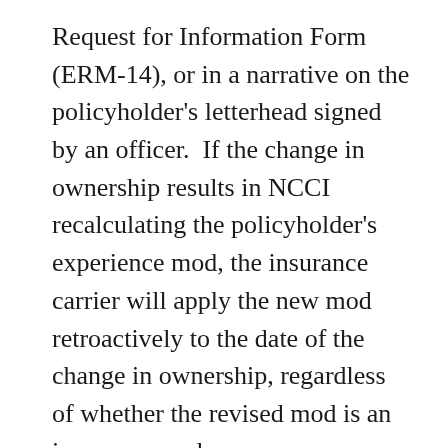Request for Information Form (ERM-14), or in a narrative on the policyholder's letterhead signed by an officer.  If the change in ownership results in NCCI recalculating the policyholder's experience mod, the insurance carrier will apply the new mod retroactively to the date of the change in ownership, regardless of whether the revised mod is an increase or a decrease.
The rule change also now requires all policyholders to report ownership changes to their workers' compensation provider